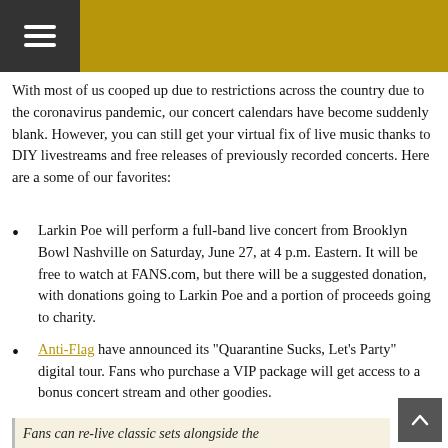[Navigation menu bar with hamburger icon]
With most of us cooped up due to restrictions across the country due to the coronavirus pandemic, our concert calendars have become suddenly blank. However, you can still get your virtual fix of live music thanks to DIY livestreams and free releases of previously recorded concerts. Here are a some of our favorites:
Larkin Poe will perform a full-band live concert from Brooklyn Bowl Nashville on Saturday, June 27, at 4 p.m. Eastern. It will be free to watch at FANS.com, but there will be a suggested donation, with donations going to Larkin Poe and a portion of proceeds going to charity.
Anti-Flag have announced its “Quarantine Sucks, Let’s Party” digital tour. Fans who purchase a VIP package will get access to a bonus concert stream and other goodies.
Fans can re-live classic sets alongside the